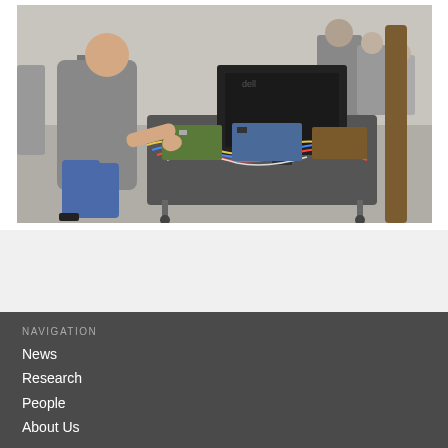[Figure (photo): A man in a grey hoodie leans over a cart filled with electronic equipment, cables, and circuit boards outdoors on a plaza. A Dell laptop monitor is visible on the cart. Other people are visible in the background near a tree.]
NAVIGATION
News
Research
People
About Us